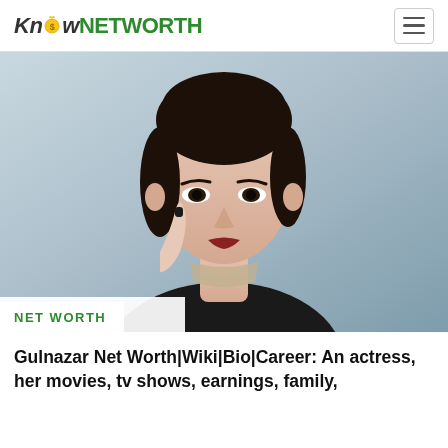KnowNETWORTH
[Figure (photo): Portrait photo of Gulnazar, a young Asian actress with dark hair pulled back, wearing a black ribbed turtleneck, with one hand raised near her face, dark nail polish, against a light grey background.]
NET WORTH
Gulnazar Net Worth|Wiki|Bio|Career: An actress, her movies, tv shows, earnings, family, relationships...